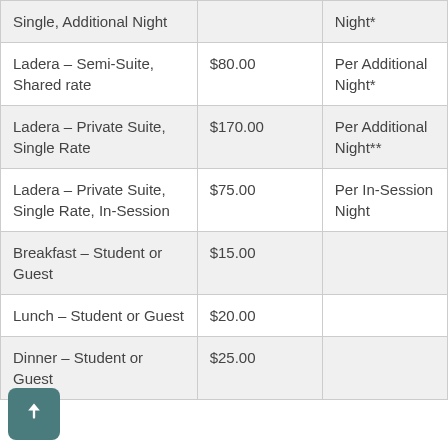| Item | Price | Period |
| --- | --- | --- |
| Single, Additional Night |  | Night* |
| Ladera – Semi-Suite, Shared rate | $80.00 | Per Additional Night* |
| Ladera – Private Suite, Single Rate | $170.00 | Per Additional Night** |
| Ladera – Private Suite, Single Rate, In-Session | $75.00 | Per In-Session Night |
| Breakfast – Student or Guest | $15.00 |  |
| Lunch – Student or Guest | $20.00 |  |
| Dinner – Student or Guest | $25.00 |  |